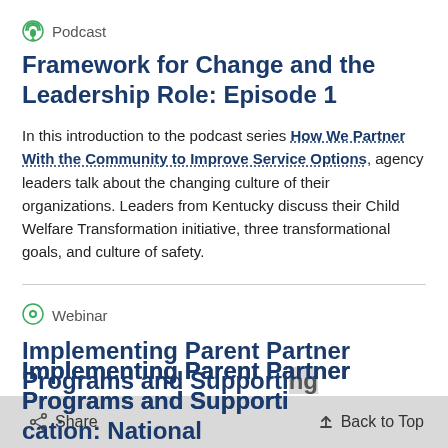Podcast
Framework for Change and the Leadership Role: Episode 1
In this introduction to the podcast series How We Partner With the Community to Improve Service Options, agency leaders talk about the changing culture of their organizations. Leaders from Kentucky discuss their Child Welfare Transformation initiative, three transformational goals, and culture of safety.
Webinar
Implementing Parent Partner Programs and Supporting Education: National